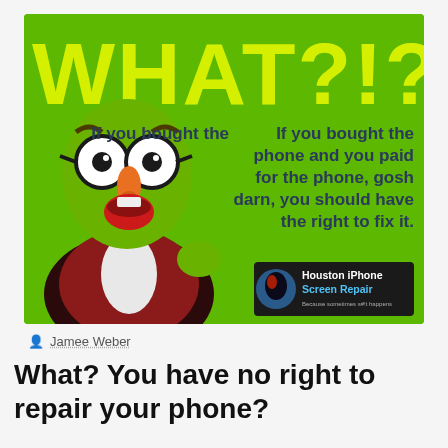[Figure (illustration): A promotional image on a bright green background featuring a green Muppet-style puppet wearing glasses and a red jacket with bow tie, mouth open in shock. Large yellow bold text at top reads 'WHAT?!?' and text on the right reads 'If you bought the phone and you paid for the phone, gosh darn, you should have the right to fix it.' A black logo box in the bottom right corner shows 'Houston iPhone Screen Repair'.]
Jamee Weber
What? You have no right to repair your phone?